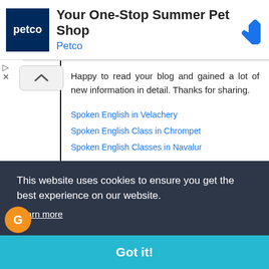[Figure (screenshot): Petco advertisement banner with navy blue Petco logo, title 'Your One-Stop Summer Pet Shop', brand name 'Petco' in blue, and a blue diamond navigation icon on the right]
Happy to read your blog and gained a lot of new information in detail. Thanks for sharing.
Spoken English in Velachery
Spoken English Class in Chrompet
Spoken English Classes in Navalur
This website uses cookies to ensure you get the best experience on our website.
Learn more
Got it!